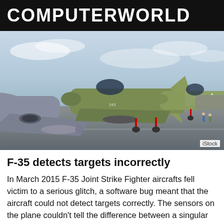COMPUTERWORLD
[Figure (photo): Military fighter jets (F-16 style aircraft) lined up on an airfield tarmac, seen from the side at an angle. Multiple camouflaged aircraft with visible missiles/fuel tanks under wings. Cloudy sky in the background. iStock watermark in bottom right.]
F-35 detects targets incorrectly
In March 2015 F-35 Joint Strike Fighter aircrafts fell victim to a serious glitch, a software bug meant that the aircraft could not detect targets correctly. The sensors on the plane couldn't tell the difference between a singular or multiple threats.